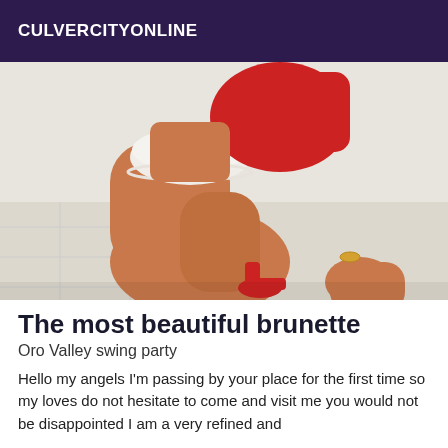CULVERCITYONLINE
[Figure (photo): A woman crouching in white underwear and a red top, wearing red high heels, photographed from behind/side against a white wall with tiled floor.]
The most beautiful brunette
Oro Valley swing party
Hello my angels I'm passing by your place for the first time so my loves do not hesitate to come and visit me you would not be disappointed I am a very refined and